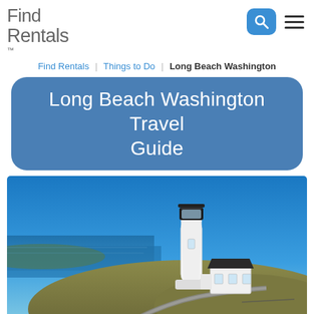Find Rentals
Find Rentals  Things to Do  Long Beach Washington
Long Beach Washington Travel Guide
[Figure (photo): A white lighthouse with black lantern room and adjacent keeper's house, situated on a grassy coastal headland with a winding road, clear blue sky and ocean in the background]